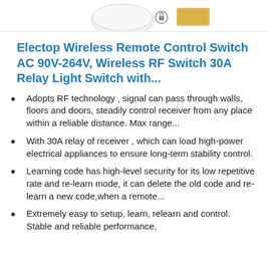[Figure (photo): Partial product image showing a wireless remote control switch at the top of the page]
Electop Wireless Remote Control Switch AC 90V-264V, Wireless RF Switch 30A Relay Light Switch with...
Adopts RF technology , signal can pass through walls, floors and doors, steadily control receiver from any place within a reliable distance. Max range...
With 30A relay of receiver , which can load high-power electrical appliances to ensure long-term stability control.
Learning code has high-level security for its low repetitive rate and re-learn mode, it can delete the old code and re-learn a new code,when a remote...
Extremely easy to setup, learn, relearn and control. Stable and reliable performance, high receiving sensitivity. Configuration of 2...